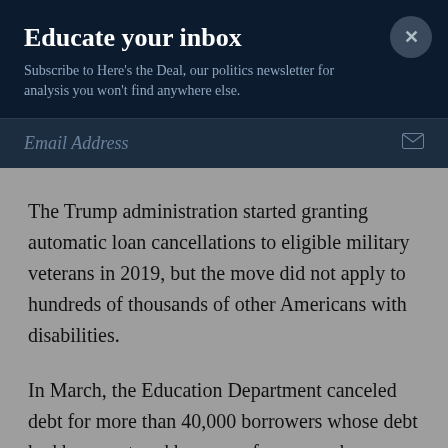Educate your inbox
Subscribe to Here's the Deal, our politics newsletter for analysis you won't find anywhere else.
Email Address
The Trump administration started granting automatic loan cancellations to eligible military veterans in 2019, but the move did not apply to hundreds of thousands of other Americans with disabilities.
In March, the Education Department canceled debt for more than 40,000 borrowers whose debt had been restored because of paperwork